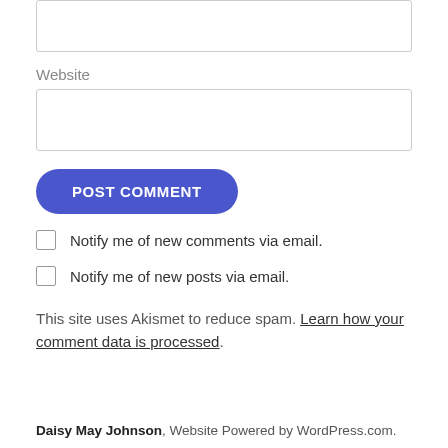[Figure (screenshot): Partial input box at top of page (cut off)]
Website
[Figure (screenshot): Website input text field]
POST COMMENT
Notify me of new comments via email.
Notify me of new posts via email.
This site uses Akismet to reduce spam. Learn how your comment data is processed.
Daisy May Johnson, Website Powered by WordPress.com.